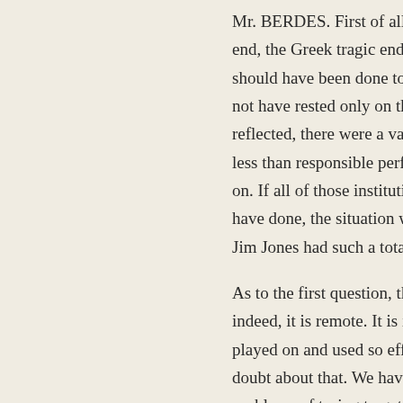Mr. BERDES. First of all, let me say that the end, the Greek tragic end, was not inevitable; it should have been done to prevent it. It should not have rested only on the shoulders, as I reflected, there were a variety of institutions less than responsible performance going on. If all of those institutions had done what they have done, the situation would not be that Jim Jones had such a total stranglehold.
As to the first question, the remoteness, indeed, it is remote. It is isolation that was played on and used so effectively. There is no doubt about that. We have been faced with the problems of trying to get there.
As to what the State Departm